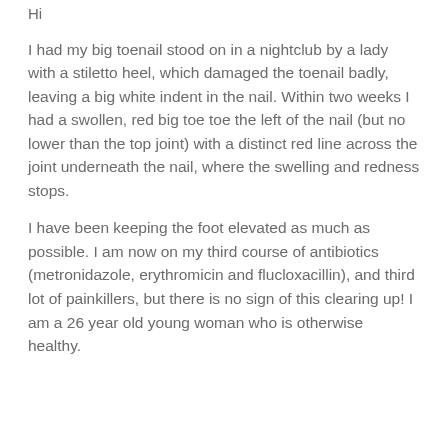Hi
I had my big toenail stood on in a nightclub by a lady with a stiletto heel, which damaged the toenail badly, leaving a big white indent in the nail. Within two weeks I had a swollen, red big toe toe the left of the nail (but no lower than the top joint) with a distinct red line across the joint underneath the nail, where the swelling and redness stops.
I have been keeping the foot elevated as much as possible. I am now on my third course of antibiotics (metronidazole, erythromicin and flucloxacillin), and third lot of painkillers, but there is no sign of this clearing up! I am a 26 year old young woman who is otherwise healthy.